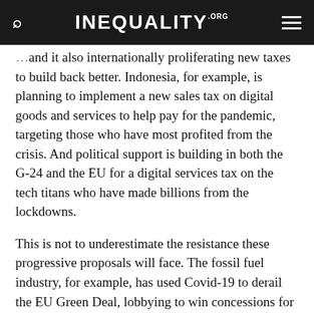INEQUALITY.ORG
…and it also internationally proliferating new taxes to build back better. Indonesia, for example, is planning to implement a new sales tax on digital goods and services to help pay for the pandemic, targeting those who have most profited from the crisis. And political support is building in both the G-24 and the EU for a digital services tax on the tech titans who have made billions from the lockdowns.
This is not to underestimate the resistance these progressive proposals will face. The fossil fuel industry, for example, has used Covid-19 to derail the EU Green Deal, lobbying to win concessions for climate-damaging energy schemes, gain access to bailout funds, and weaken environmental standards. And, the IMF, despite more progressive language, has been pushing countries facing new debt crises into packages that promote